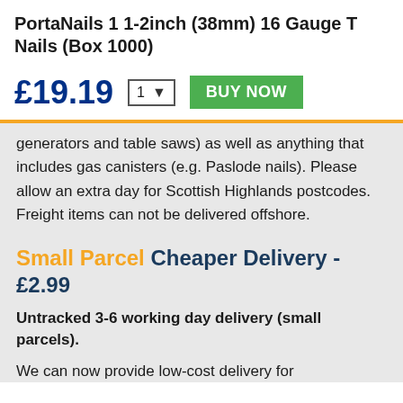PortaNails 1 1-2inch (38mm) 16 Gauge T Nails (Box 1000)
£19.19  1 ▼  BUY NOW
generators and table saws) as well as anything that includes gas canisters (e.g. Paslode nails). Please allow an extra day for Scottish Highlands postcodes. Freight items can not be delivered offshore.
Small Parcel Cheaper Delivery - £2.99
Untracked 3-6 working day delivery (small parcels).
We can now provide low-cost delivery for